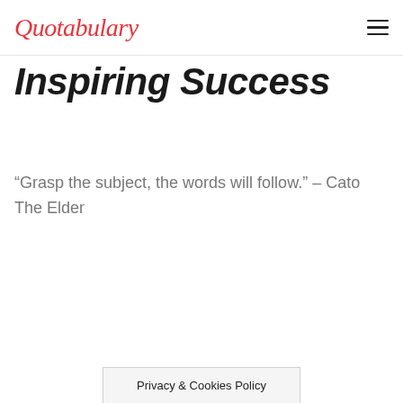Quotabulary
Inspiring Success
“Grasp the subject, the words will follow.” – Cato The Elder
Privacy & Cookies Policy